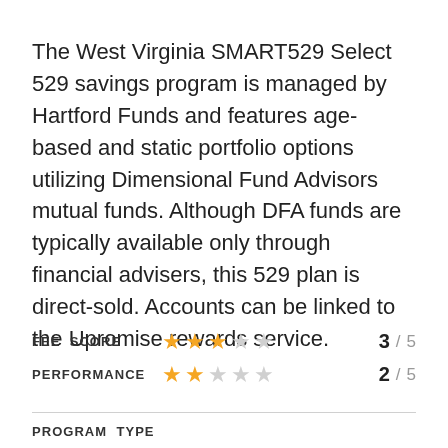The West Virginia SMART529 Select 529 savings program is managed by Hartford Funds and features age-based and static portfolio options utilizing Dimensional Fund Advisors mutual funds. Although DFA funds are typically available only through financial advisers, this 529 plan is direct-sold. Accounts can be linked to the Upromise rewards service.
| Category | Stars | Score | Max |
| --- | --- | --- | --- |
| FEE SCORE | 3 stars filled | 3 | 5 |
| PERFORMANCE | 2 stars filled | 2 | 5 |
PROGRAM TYPE